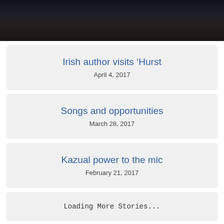[Figure (photo): Dark photograph of people at an event, partially visible at top of page]
Irish author visits ‘Hurst
April 4, 2017
Songs and opportunities
March 28, 2017
Kazual power to the mic
February 21, 2017
Loading More Stories...